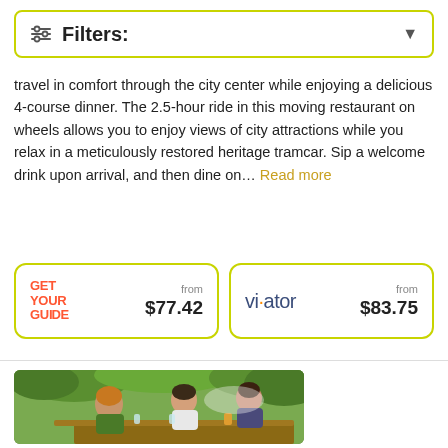Filters:
travel in comfort through the city center while enjoying a delicious 4-course dinner. The 2.5-hour ride in this moving restaurant on wheels allows you to enjoy views of city attractions while you relax in a meticulously restored heritage tramcar. Sip a welcome drink upon arrival, and then dine on… Read more
GET YOUR GUIDE from $77.42
viator from $83.75
[Figure (photo): Three people dining outdoors at a table with drinks, surrounded by green trees. Two women and one man in casual attire.]